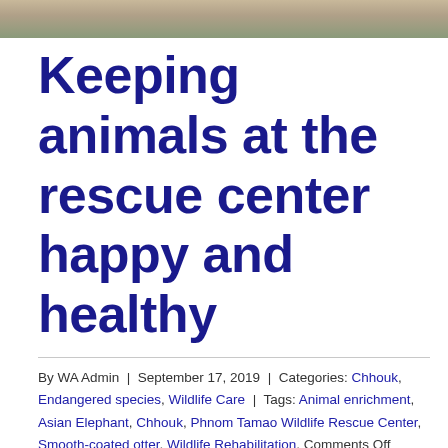[Figure (photo): Partial photo strip at top of page showing an animal (possibly elephant) in an outdoor setting]
Keeping animals at the rescue center happy and healthy
By WA Admin | September 17, 2019 | Categories: Chhouk, Endangered species, Wildlife Care | Tags: Animal enrichment, Asian Elephant, Chhouk, Phnom Tamao Wildlife Rescue Center, Smooth-coated otter, Wildlife Rehabilitation, Comments Off